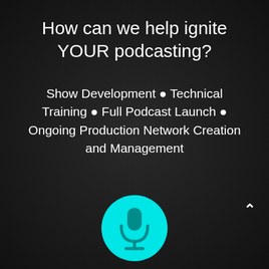How can we help ignite YOUR podcasting?
Show Development • Technical Training • Full Podcast Launch • Ongoing Production Network Creation and Management
[Figure (illustration): Cyan circle with a microphone icon in the center, representing podcasting services]
Independent Podcasters